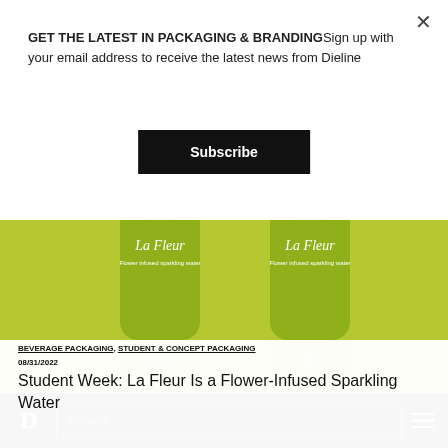GET THE LATEST IN PACKAGING & BRANDINGSign up with your email address to receive the latest news from Dieline
Subscribe
[Figure (photo): Two green glass bottles of La Fleur flower-infused sparkling water on a yellow-green background. Bottles labeled La Fleur with floral designs, one reads Lavender and one reads Jasmine.]
BEVERAGE PACKAGING, STUDENT & CONCEPT PACKAGING
08/31/2022
Student Week: La Fleur Is a Flower-Infused Sparkling Water
D  Search  ≡